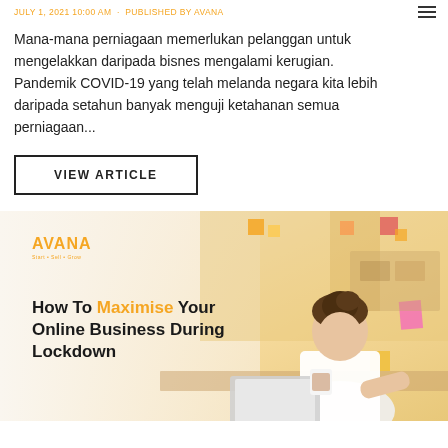JULY 1, 2021 10:00 AM · PUBLISHED BY AVANA
Mana-mana perniagaan memerlukan pelanggan untuk mengelakkan daripada bisnes mengalami kerugian. Pandemik COVID-19 yang telah melanda negara kita lebih daripada setahun banyak menguji ketahanan semua perniagaan...
VIEW ARTICLE
[Figure (photo): Avana branded promotional image showing a smiling young woman working on a laptop with text 'How To Maximise Your Online Business During Lockdown' and Avana logo]